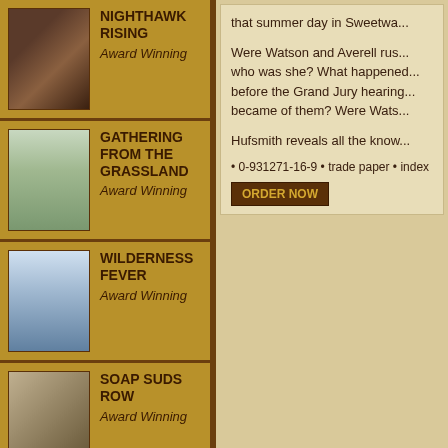NIGHTHAWK RISING Award Winning
GATHERING FROM THE GRASSLAND Award Winning
WILDERNESS FEVER Award Winning
SOAP SUDS ROW Award Winning
ON MY ASS Award
that summer day in Sweetwa...
Were Watson and Averell rus... who was she? What happened... before the Grand Jury hearing... became of them? Were Wats...
Hufsmith reveals all the know...
• 0-931271-16-9 • trade paper • index
ORDER NOW